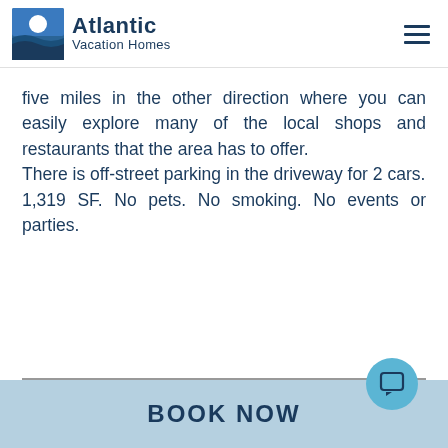Atlantic Vacation Homes
five miles in the other direction where you can easily explore many of the local shops and restaurants that the area has to offer.
There is off-street parking in the driveway for 2 cars.
1,319 SF. No pets. No smoking. No events or parties.
BOOK NOW